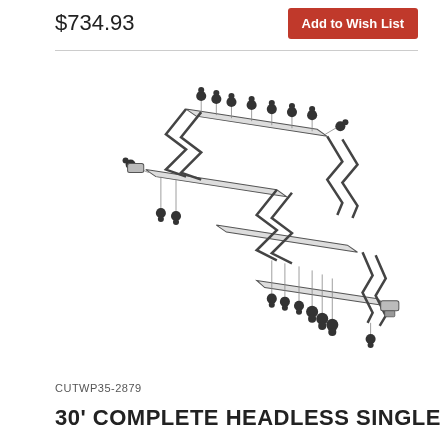$734.93
Add to Wish List
[Figure (illustration): Exploded-view technical illustration of a 30-foot complete headless single wire partition or stair assembly, shown in isometric perspective with multiple horizontal rails connected by zigzag brackets, with numerous bolts/fasteners hanging vertically from connection points.]
CUTWP35-2879
30' COMPLETE HEADLESS SINGLE